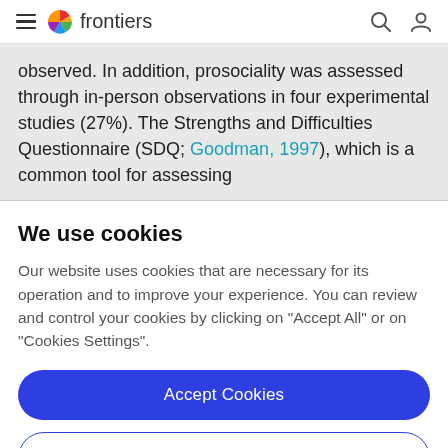frontiers
observed. In addition, prosociality was assessed through in-person observations in four experimental studies (27%). The Strengths and Difficulties Questionnaire (SDQ; Goodman, 1997), which is a common tool for assessing
We use cookies
Our website uses cookies that are necessary for its operation and to improve your experience. You can review and control your cookies by clicking on "Accept All" or on "Cookies Settings".
Accept Cookies
Cookies Settings